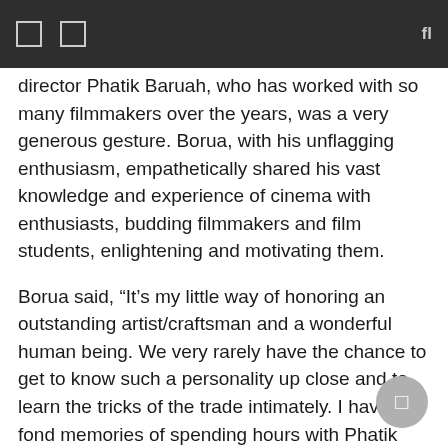director Phatik Baruah, who has worked with so many filmmakers over the years, was a very generous gesture. Borua, with his unflagging enthusiasm, empathetically shared his vast knowledge and experience of cinema with enthusiasts, budding filmmakers and film students, enlightening and motivating them.
Borua said, “It’s my little way of honoring an outstanding artist/craftsman and a wonderful human being. We very rarely have the chance to get to know such a personality up close and to learn the tricks of the trade intimately. I have fond memories of spending hours with Phatik Dodaideo, cooking a meal together, and deliberating about our lives and times. His exceptional life is on film and I sincerely hope that the people of Assam will learn more about his life and work in the days to come.